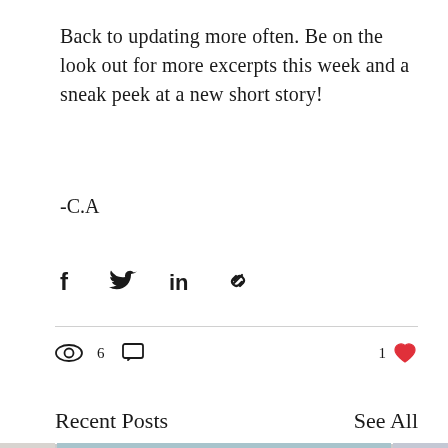Back to updating more often. Be on the look out for more excerpts this week and a sneak peek at a new short story!
-C.A
[Figure (infographic): Social share icons: Facebook, Twitter, LinkedIn, and link/copy icon]
6 views, 0 comments, 1 like
Recent Posts
See All
[Figure (photo): Three partially visible blog post thumbnail photos: left shows a light surface, center shows a window with grid panes looking out to greenery, right shows a twilight sky.]